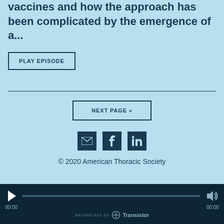vaccines and how the approach has been complicated by the emergence of a...
PLAY EPISODE
NEXT PAGE »
[Figure (infographic): Social share icons: email (envelope), Facebook (f), LinkedIn (in)]
© 2020 American Thoracic Society
[Figure (infographic): Audio player bar with play button, progress bar, time counters (00:00 / 00:00), volume icon, and 'Broadcast by Transistor' branding]